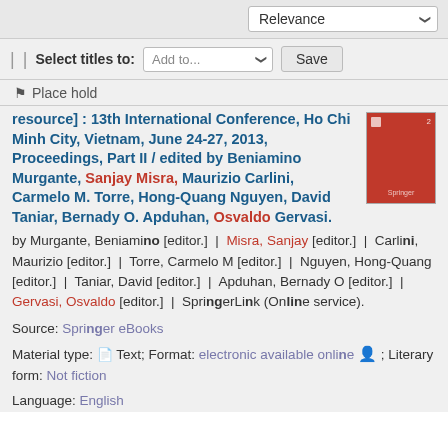Relevance
Select titles to: Add to... Save
Place hold
resource] : 13th International Conference, Ho Chi Minh City, Vietnam, June 24-27, 2013, Proceedings, Part II / edited by Beniamino Murgante, Sanjay Misra, Maurizio Carlini, Carmelo M. Torre, Hong-Quang Nguyen, David Taniar, Bernady O. Apduhan, Osvaldo Gervasi.
by Murgante, Beniamino [editor.] | Misra, Sanjay [editor.] | Carlini, Maurizio [editor.] | Torre, Carmelo M [editor.] | Nguyen, Hong-Quang [editor.] | Taniar, David [editor.] | Apduhan, Bernady O [editor.] | Gervasi, Osvaldo [editor.] | SpringerLink (Online service).
Source: Springer eBooks
Material type: Text; Format: electronic available online ; Literary form: Not fiction
Language: English